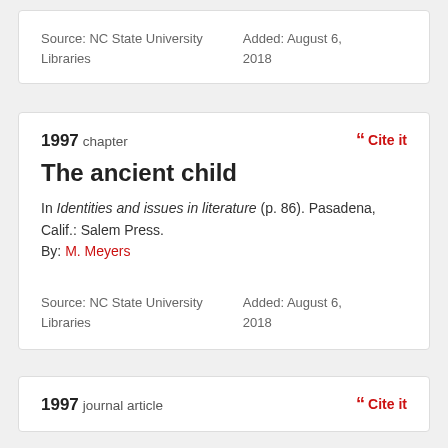Source: NC State University Libraries
Added: August 6, 2018
1997 chapter
The ancient child
In Identities and issues in literature (p. 86). Pasadena, Calif.: Salem Press.
By: M. Meyers
Source: NC State University Libraries
Added: August 6, 2018
1997 journal article